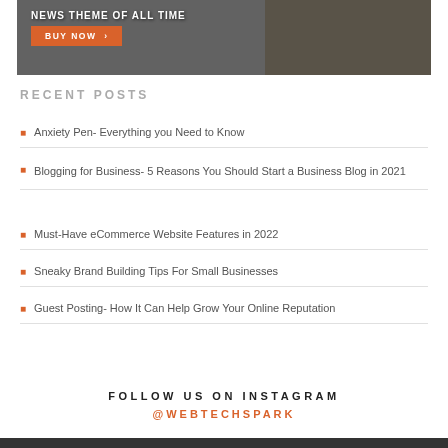[Figure (photo): Banner image with dark overlay showing people on train tracks, with orange BUY NOW button and headline text 'news theme of all time']
RECENT POSTS
Anxiety Pen- Everything you Need to Know
Blogging for Business- 5 Reasons You Should Start a Business Blog in 2021
Must-Have eCommerce Website Features in 2022
Sneaky Brand Building Tips For Small Businesses
Guest Posting- How It Can Help Grow Your Online Reputation
FOLLOW US ON INSTAGRAM
@WEBTECHSPARK